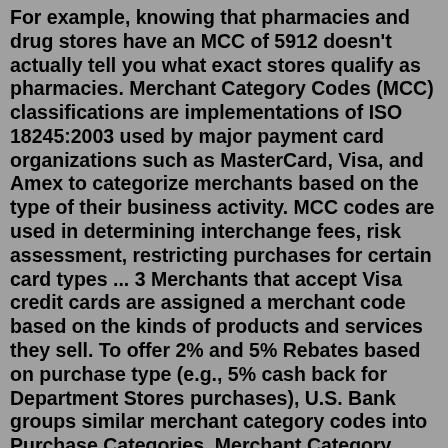For example, knowing that pharmacies and drug stores have an MCC of 5912 doesn't actually tell you what exact stores qualify as pharmacies. Merchant Category Codes (MCC) classifications are implementations of ISO 18245:2003 used by major payment card organizations such as MasterCard, Visa, and Amex to categorize merchants based on the type of their business activity. MCC codes are used in determining interchange fees, risk assessment, restricting purchases for certain card types ... 3 Merchants that accept Visa credit cards are assigned a merchant code based on the kinds of products and services they sell. To offer 2% and 5% Rebates based on purchase type (e.g., 5% cash back for Department Stores purchases), U.S. Bank groups similar merchant category codes into Purchase Categories. Merchant Category Codes (MCC) are 4 digit numbers used by the payments industry to classify businesses by market segment. At WePay, we use a similar code to help us better understand your business. Below is the list of MCCs that we use to classify your account